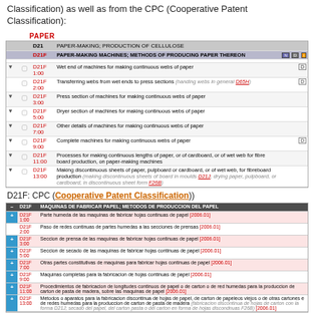Classification) as well as from the CPC (Cooperative Patent Classification):
PAPER
|  | Code | Description |  |
| --- | --- | --- | --- |
|  | D21 | PAPER-MAKING; PRODUCTION OF CELLULOSE |  |
|  | D21F | PAPER-MAKING MACHINES; METHODS OF PRODUCING PAPER THEREON |  |
| ▼ | D21F 1:00 | Wet end of machines for making continuous webs of paper | D |
|  | D21F 2:00 | Transferring webs from wet ends to press sections (handing webs in general D65H) | D |
| ▼ | D21F 3:00 | Press section of machines for making continuous webs of paper |  |
| ▼ | D21F 5:00 | Dryer section of machines for making continuous webs of paper |  |
| ▼ | D21F 7:00 | Other details of machines for making continuous webs of paper |  |
| ▼ | D21F 9:00 | Complete machines for making continuous webs of paper | D |
| ▼ | D21F 11:00 | Processes for making continuous lengths of paper, or of cardboard, or of wet web for fibre board production, on paper-making machines |  |
| ▼ | D21F 13:00 | Making discontinuous sheets of paper, pulpboard or cardboard, or of wet web, for fibreboard production (making discontinuous sheets of board in moulds D21J; drying paper, pulpboard, or cardboard, in discontinuous sheet form F26B) |  |
D21F: CPC (Cooperative Patent Classification))
|  | Code | Description |
| --- | --- | --- |
| - | D21F | MAQUINAS DE FABRICAR PAPEL; METODOS DE PRODUCCION DEL PAPEL |
| + | D21F 1:00 | Parte humeda de las maquinas de fabricar hojas continuas de papel [2006.01] |
|  | D21F 2:00 | Paso de redes continuas de partes humedas a las secciones de prensas [2006.01] |
| + | D21F 3:00 | Seccion de prensa de las maquinas de fabricar hojas continuas de papel [2006.01] |
| + | D21F 5:00 | Seccion de secado de las maquinas de fabricar hojas continuas de papel [2006.01] |
| + | D21F 7:00 | Otras partes constitutivas de maquinas para fabricar hojas continuas de papel [2006.01] |
| + | D21F 9:00 | Maquinas completas para la fabricacion de hojas continuas de papel [2006.01] |
| + | D21F 11:00 | Procedimientos de fabricacion de longitudes continuos de papel o de carton o de red humedas para la produccion de carton de pasta de madera, sobre las maquinas de papel [2006.01] |
| + | D21F 13:00 | Metodos o aparatos para la fabricacion discontinua de hojas de papel, de carton de papeleos viejos o de otras cartones e de redes humedas para la produccion de carton de pasta de madera (fabricacion discontinua de hojas de carton con la forma D21J; secado del papel, del carton pasta o del carton en forma de hojas discondnuas F26B) [2006.01] |
D21F: CIP (International PAtent Classification)